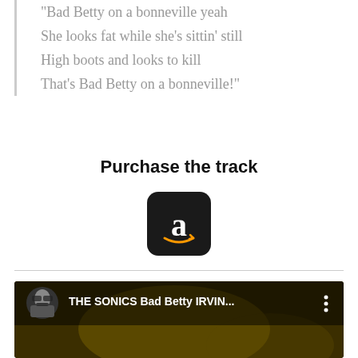"Bad Betty on a bonneville yeah
She looks fat while she’s sittin’ still
High boots and looks to kill
That’s Bad Betty on a bonneville!"
Purchase the track
[Figure (logo): Amazon shopping app icon — black rounded square with white letter 'a' and arrow/smile beneath]
[Figure (screenshot): YouTube video thumbnail showing 'THE SONICS Bad Betty IRVIN...' with a Groucho Marx-style avatar and dark olive/yellow background, with three-dot menu icon]